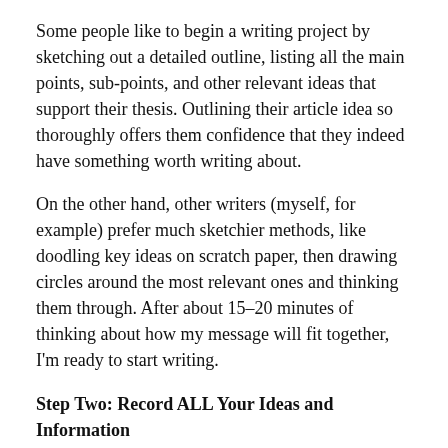Some people like to begin a writing project by sketching out a detailed outline, listing all the main points, sub-points, and other relevant ideas that support their thesis. Outlining their article idea so thoroughly offers them confidence that they indeed have something worth writing about.
On the other hand, other writers (myself, for example) prefer much sketchier methods, like doodling key ideas on scratch paper, then drawing circles around the most relevant ones and thinking them through. After about 15-20 minutes of thinking about how my message will fit together, I'm ready to start writing.
Step Two: Record ALL Your Ideas and Information
Writer's fright invariably paralyzes our efforts when we're trying to make our writing perfect or eloquent immediately. We need first to understand that good writing almost always requires substantial re-writing. When we forget this, we keep deleting or crossing out initial sentences or paragraphs because they don't conform to an ideal in our minds. Then we start all over again, from scratch. This